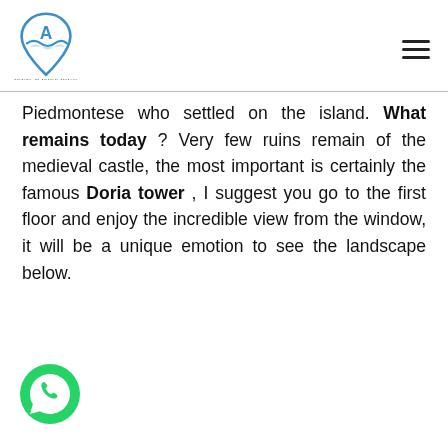[Figure (logo): Travel Planner Amalfi logo: a map pin shape with a stylized 'A' and wave/boat graphic inside, with small text below reading 'TRAVEL PLANNER AMALFI']
[Figure (other): Hamburger menu icon (three horizontal lines) in top right corner]
Piedmontese who settled on the island. What remains today ? Very few ruins remain of the medieval castle, the most important is certainly the famous Doria tower , I suggest you go to the first floor and enjoy the incredible view from the window, it will be a unique emotion to see the landscape below.
[Figure (logo): WhatsApp logo: green circle with white phone handset icon]